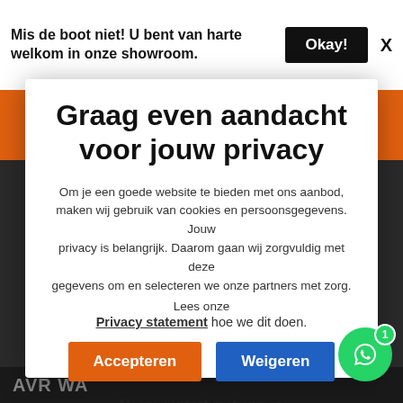Mis de boot niet! U bent van harte welkom in onze showroom.
Graag even aandacht voor jouw privacy
Om je een goede website te bieden met ons aanbod, maken wij gebruik van cookies en persoonsgegevens. Jouw privacy is belangrijk. Daarom gaan wij zorgvuldig met deze gegevens om en selecteren we onze partners met zorg. Lees onze Privacy statement hoe we dit doen.
Accepteren
Weigeren
Neem contact met ons op
AVR WA